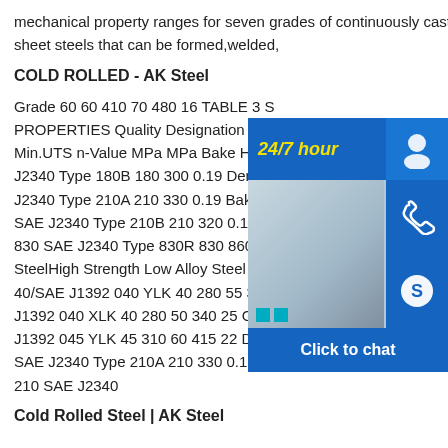mechanical property ranges for seven grades of continuously cast high strength automotive sheet steels that can be formed,welded,
COLD ROLLED - AK Steel
Grade 60 60 410 70 480 16 TABLE 3 S... PROPERTIES Quality Designation De... Min.UTS n-Value MPa MPa Bake Hard... J2340 Type 180B 180 300 0.19 Dent R... J2340 Type 210A 210 330 0.19 Bake H... SAE J2340 Type 210B 210 320 0.17 R... 830 SAE J2340 Type 830R 830 860 C... SteelHigh Strength Low Alloy Steel (H... 40/SAE J1392 040 YLK 40 280 55 380 25 Grade 40/SAE J1392 040 XLK 40 280 50 340 25 Grade 45 CL 1/ SAE J1392 045 YLK 45 310 60 415 22 Dent Resistant 210 SAE J2340 Type 210A 210 330 0.19 Bake Hardenable 210 SAE J2340
Cold Rolled Steel | AK Steel
[Figure (photo): Customer service chat overlay with 24/7 hour label, person with headset photo, phone icon, Skype icon, and Click to chat button]